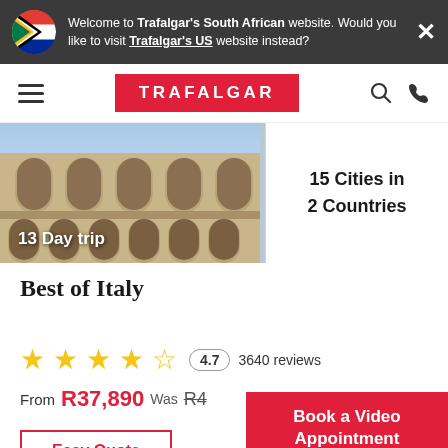Welcome to Trafalgar's South African website. Would you like to visit Trafalgar's US website instead?
[Figure (logo): Trafalgar red logo on red background with white text]
[Figure (photo): Photo of the Colosseum in Rome, Italy. Shows ancient stone arches and architectural detail.]
13 Day trip
15 Cities in 2 Countries
Best of Italy
4.7  3640 reviews
From R37,890  Was R4...
Book a Video Appointment
Easy Quote